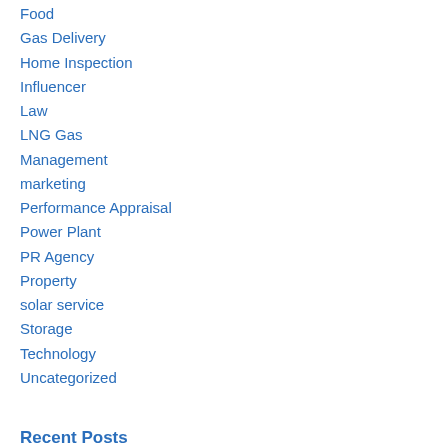Food
Gas Delivery
Home Inspection
Influencer
Law
LNG Gas
Management
marketing
Performance Appraisal
Power Plant
PR Agency
Property
solar service
Storage
Technology
Uncategorized
Recent Posts